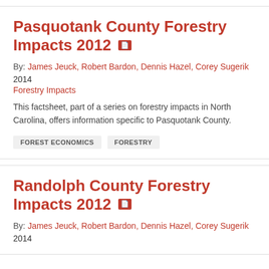Pasquotank County Forestry Impacts 2012
By: James Jeuck, Robert Bardon, Dennis Hazel, Corey Sugerik
2014
Forestry Impacts
This factsheet, part of a series on forestry impacts in North Carolina, offers information specific to Pasquotank County.
FOREST ECONOMICS
FORESTRY
Randolph County Forestry Impacts 2012
By: James Jeuck, Robert Bardon, Dennis Hazel, Corey Sugerik
2014